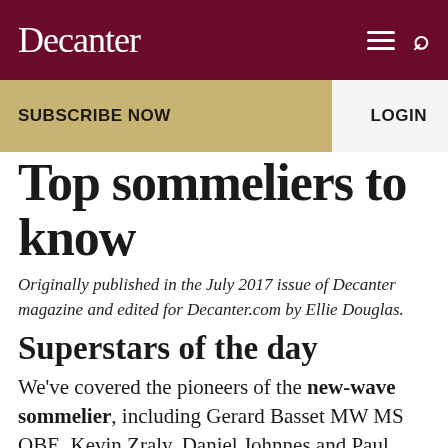Decanter
Top sommeliers to know
Originally published in the July 2017 issue of Decanter magazine and edited for Decanter.com by Ellie Douglas.
Superstars of the day
We've covered the pioneers of the new-wave sommelier, including Gerard Basset MW MS OBE, Kevin Zraly, Daniel Johnnes and Paul